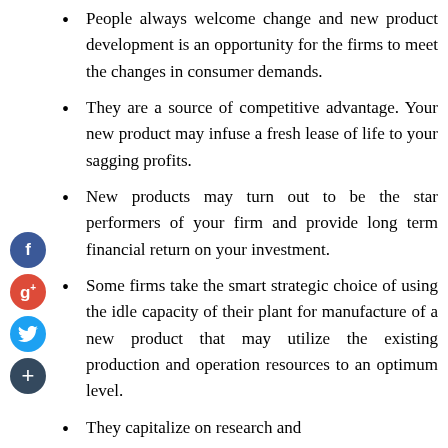People always welcome change and new product development is an opportunity for the firms to meet the changes in consumer demands.
They are a source of competitive advantage. Your new product may infuse a fresh lease of life to your sagging profits.
New products may turn out to be the star performers of your firm and provide long term financial return on your investment.
Some firms take the smart strategic choice of using the idle capacity of their plant for manufacture of a new product that may utilize the existing production and operation resources to an optimum level.
They capitalize on research and